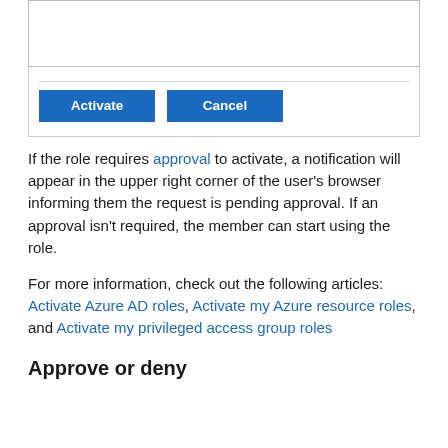[Figure (screenshot): A UI panel showing a text input box above a horizontal divider line, with two blue buttons labeled 'Activate' and 'Cancel' below the divider.]
If the role requires approval to activate, a notification will appear in the upper right corner of the user's browser informing them the request is pending approval. If an approval isn't required, the member can start using the role.
For more information, check out the following articles: Activate Azure AD roles, Activate my Azure resource roles, and Activate my privileged access group roles
Approve or deny